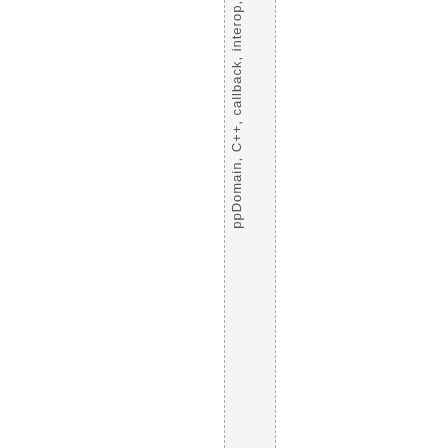ppDomain, C++, callback, interop,